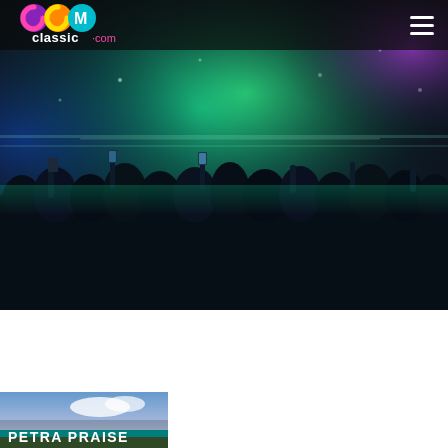[Figure (logo): CCM Classic.com logo — colorful circular letters C, C, M in purple, pink/orange, teal with 'classic.com' text below]
[Figure (photo): Concert crowd photo with colorful stage lighting in teal/green and purple, crowd silhouettes raising hands and phones]
[Figure (photo): Petra Praise album/article thumbnail image with text 'PETRA PRAISE' overlaid on a scenic outdoor photo]